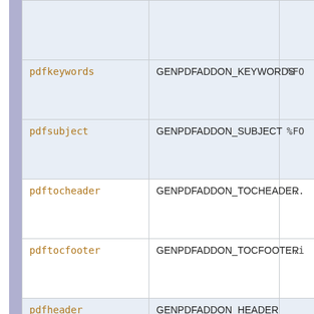| Parameter | Constant | Value |
| --- | --- | --- |
|  |  |  |
| pdfkeywords | GENPDFADDON_KEYWORDS | %FO |
| pdfsubject | GENPDFADDON_SUBJECT | %FO |
| pdftocheader | GENPDFADDON_TOCHEADER | ... |
| pdftocfooter | GENPDFADDON_TOCFOOTER | ..i |
| pdfheader | GENPDFADDON_HEADER |  |
| pdffooter | GENPDFADDON_FOOTER |  |